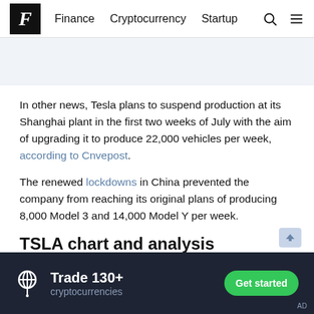F  Finance  Cryptocurrency  Startup
In other news, Tesla plans to suspend production at its Shanghai plant in the first two weeks of July with the aim of upgrading it to produce 22,000 vehicles per week, according to Cnvepost.
The renewed lockdowns in China prevented the company from reaching its original plans of producing 8,000 Model 3 and 14,000 Model Y per week.
TSLA chart and analysis
On the whole, shares of the company created a wide trading
[Figure (other): Bottom advertisement banner: Trade 130+ cryptocurrencies. Get started button. Dark background with crypto icon.]